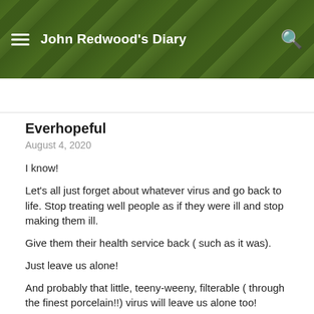John Redwood's Diary
Everhopeful
August 4, 2020
I know!
Let’s all just forget about whatever virus and go back to life. Stop treating well people as if they were ill and stop making them ill.
Give them their health service back ( such as it was).
Just leave us alone!
And probably that little, teeny-weeny, filterable ( through the finest porcelain!!) virus will leave us alone too!